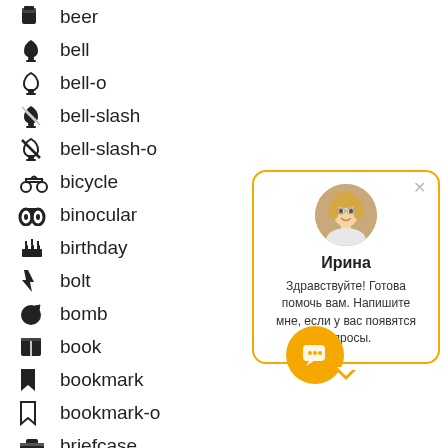beer
bell
bell-o
bell-slash
bell-slash-o
bicycle
binoculars
birthday
bolt
bomb
book
bookmark
bookmark-o
briefcase
bug
[Figure (illustration): Chat popup with avatar photo of a blonde woman named Ирина with message in Russian: Здравствуйте! Готова помочь вам. Напишите мне, если у вас появятся вопросы. Orange-bordered speech bubble popup with close button.]
[Figure (illustration): Orange circular chat button with white chat/video icon]